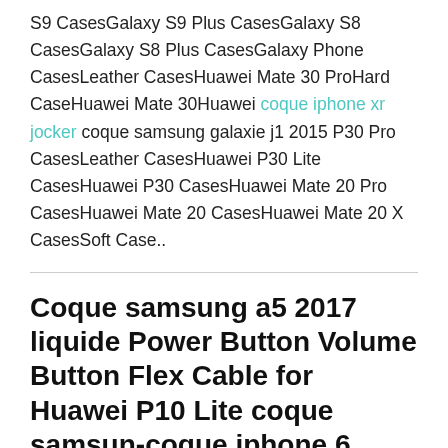S9 CasesGalaxy S9 Plus CasesGalaxy S8 CasesGalaxy S8 Plus CasesGalaxy Phone CasesLeather CasesHuawei Mate 30 ProHard CaseHuawei Mate 30Huawei coque iphone xr jocker coque samsung galaxie j1 2015 P30 Pro CasesLeather CasesHuawei P30 Lite CasesHuawei P30 CasesHuawei Mate 20 Pro CasesHuawei Mate 20 CasesHuawei Mate 20 X CasesSoft Case..
Coque samsung a5 2017 liquide Power Button Volume Button Flex Cable for Huawei P10 Lite coque samsun-coque iphone 6 yoshi-dbmlgn
JANUARY 22, 2020 / COMMENTS OFF